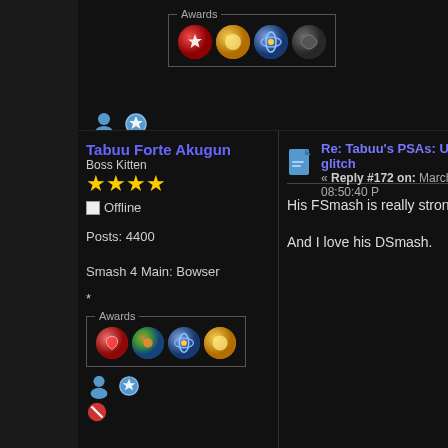[Figure (screenshot): Awards fieldset with 4 medal icons in top section]
[Figure (screenshot): User icons (person and badge) and ban symbol in top section]
Tabuu Forte Akugun
Boss Kitten
[Figure (other): 4 gold star rating icons]
Offline
Posts: 4400
Smash 4 Main: Bowser
*
[Figure (screenshot): Awards fieldset with 4 medal icons (heart, multi-color, globe, gold)]
[Figure (screenshot): User icons (person and badge) and ban symbol]
Re: Tabuu's PSAs: Unfixable glitch
« Reply #172 on: March 19, 2012, 08:50:40
His FSmash is really strong.
And I love his DSmash.